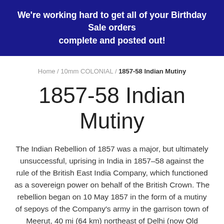We're working hard to get all of your Birthday Sale orders complete and posted out!
Home / 10mm COLONIAL / 1857-58 Indian Mutiny
1857-58 Indian Mutiny
The Indian Rebellion of 1857 was a major, but ultimately unsuccessful, uprising in India in 1857–58 against the rule of the British East India Company, which functioned as a sovereign power on behalf of the British Crown. The rebellion began on 10 May 1857 in the form of a mutiny of sepoys of the Company's army in the garrison town of Meerut, 40 mi (64 km) northeast of Delhi (now Old Delhi). It then erupted into other mutinies and civilian rebellions chiefly in the upper Gangetic plain and central India, though incidents of revolt also occurred farther north and east. The rebellion posed a considerable threat to British power in